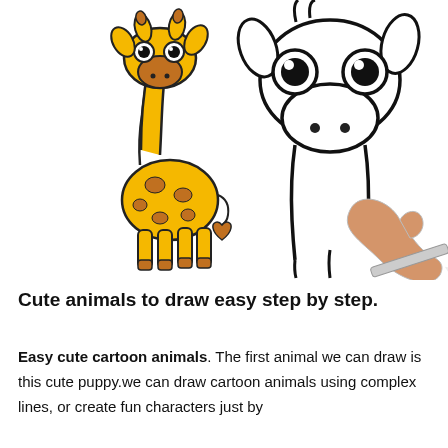[Figure (illustration): Two cartoon giraffes side by side. Left: colored cartoon giraffe with yellow body, brown spots, and big eyes. Right: line drawing of a giraffe head and neck being drawn by a hand holding a pencil.]
Cute animals to draw easy step by step.
Easy cute cartoon animals. The first animal we can draw is this cute puppy.we can draw cartoon animals using complex lines, or create fun characters just by